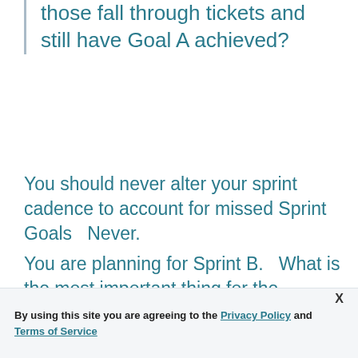those fall through tickets and still have Goal A achieved?
You should never alter your sprint cadence to account for missed Sprint Goals   Never.
You are planning for Sprint B.   What is the most important thing for the Development Team to deliver in the upcoming sprint?   Answer the question "Why are we sprinting?"
By using this site you are agreeing to the Privacy Policy and Terms of Service